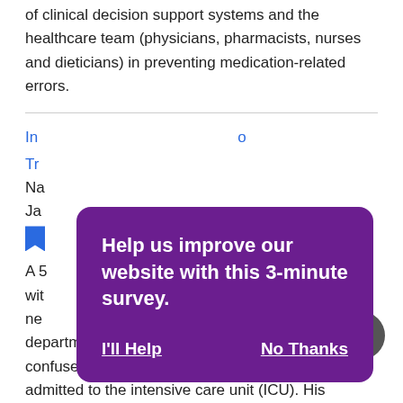of clinical decision support systems and the healthcare team (physicians, pharmacists, nurses and dieticians) in preventing medication-related errors.
In... o Tr...
Na... Ja...
[Figure (other): Blue bookmark icon]
A 5... he wit... s ne... department by his family members. He was confused and severely hyponatremic, so he was admitted to the intensive care unit (ICU). His hospital stay was complicated by an error in the administration of hypertonic saline.
[Figure (infographic): Purple modal dialog overlay with text 'Help us improve our website with this 3-minute survey.' and two buttons: 'I'll Help' and 'No Thanks']
[Figure (other): Scroll-to-top circular button with upward chevron arrow]